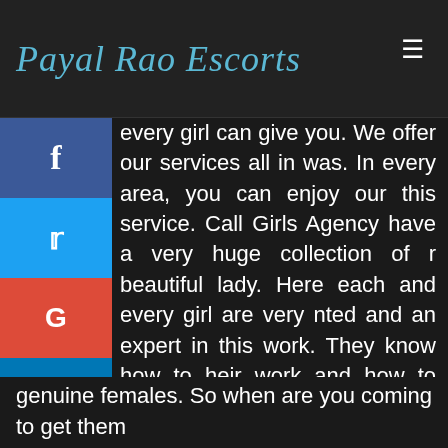Payal Rao Escorts
every girl can give you. We offer our services all in was. In every area, you can enjoy our this service. Call Girls Agency have a very huge collection of r beautiful lady. Here each and every girl are very nted and an expert in this work. They know how to heir work and how to make happy by their service. se sophisticated girls are waiting for you to make r night very romantic. They know properly how to te your mood very sexier and romantic. Our all was Call Girls Agency escorts are real and very genuine females. So when are you coming to get them